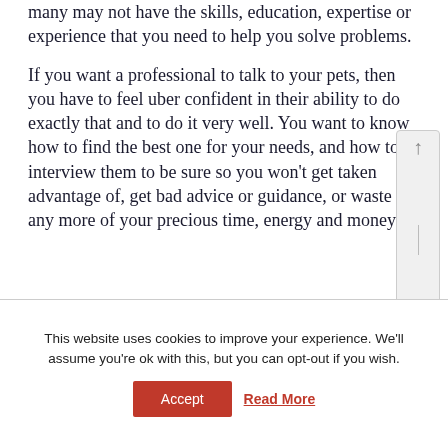many may not have the skills, education, expertise or experience that you need to help you solve problems.
If you want a professional to talk to your pets, then you have to feel uber confident in their ability to do exactly that and to do it very well. You want to know how to find the best one for your needs, and how to interview them to be sure so you won't get taken advantage of, get bad advice or guidance, or waste any more of your precious time, energy and money.
This website uses cookies to improve your experience. We'll assume you're ok with this, but you can opt-out if you wish.